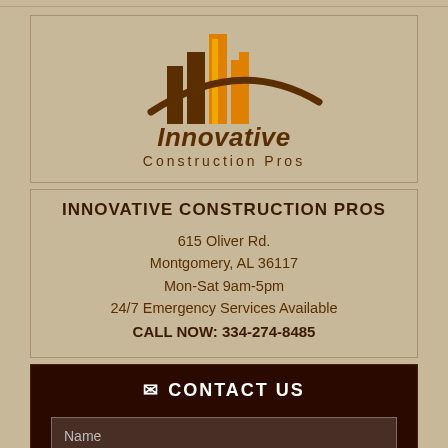[Figure (logo): Innovative Construction Pros logo with building/skyscraper icon in orange and dark brown, company name below]
INNOVATIVE CONSTRUCTION PROS
615 Oliver Rd.
Montgomery, AL 36117
Mon-Sat 9am-5pm
24/7 Emergency Services Available
CALL NOW: 334-274-8485
CONTACT US
Name
Phone